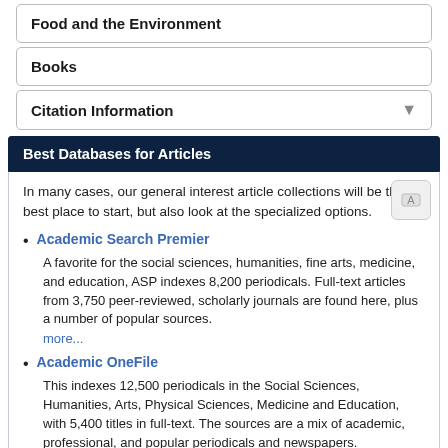Food and the Environment
Books
Citation Information
Best Databases for Articles
In many cases, our general interest article collections will be the best place to start, but also look at the specialized options.
Academic Search Premier
A favorite for the social sciences, humanities, fine arts, medicine, and education, ASP indexes 8,200 periodicals. Full-text articles from 3,750 peer-reviewed, scholarly journals are found here, plus a number of popular sources.
more...
Academic OneFile
This indexes 12,500 periodicals in the Social Sciences, Humanities, Arts, Physical Sciences, Medicine and Education, with 5,400 titles in full-text. The sources are a mix of academic, professional, and popular periodicals and newspapers.